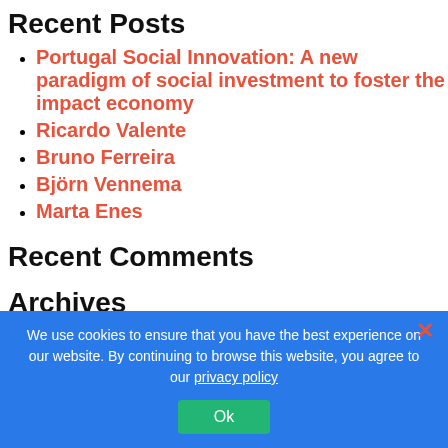Recent Posts
Portugal Social Innovation: A new paradigm of social investment to foster the impact economy
Ricardo Valente
Bruno Ferreira
Björn Vennema
Marta Enes
Recent Comments
Archives
November 2021
October 2021
We use cookies to ensure that you have the best experience on our website. By continuing to browse this website, you agree to our privacy policy
Ok